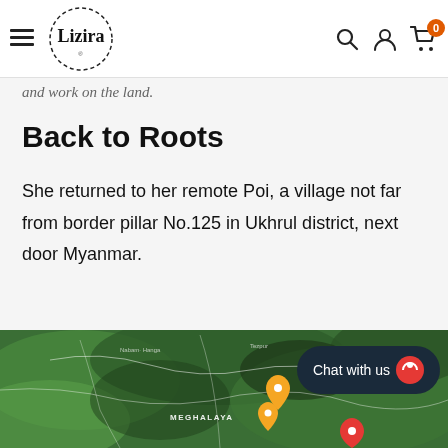Lizira — navigation header with hamburger, logo, search, account, and cart (0 items)
and work on the land.
Back to Roots
She returned to her remote Poi, a village not far from border pillar No.125 in Ukhrul district, next door Myanmar.
[Figure (map): Google Maps satellite view showing northeastern India with ASSAM and MEGHALAYA labels, location pins near Shillong area, and a 'Chat with us' overlay button in the bottom right corner.]